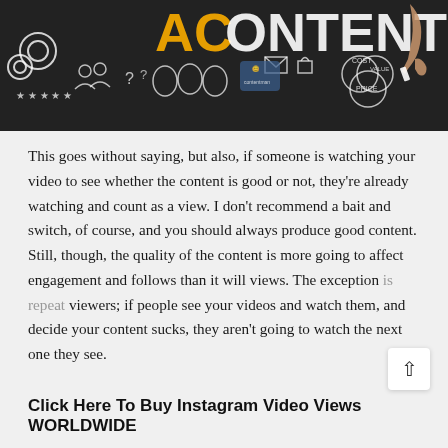[Figure (photo): Chalkboard illustration showing the word CONTENT with a hand drawing it, along with chalk drawings of gears, people, stars, question marks, email icons, and Venn diagrams. The word CONTENT has yellow and white lettering.]
This goes without saying, but also, if someone is watching your video to see whether the content is good or not, they're already watching and count as a view. I don't recommend a bait and switch, of course, and you should always produce good content. Still, though, the quality of the content is more going to affect engagement and follows than it will views. The exception is repeat viewers; if people see your videos and watch them, and decide your content sucks, they aren't going to watch the next one they see.
Click Here To Buy Instagram Video Views WORLDWIDE